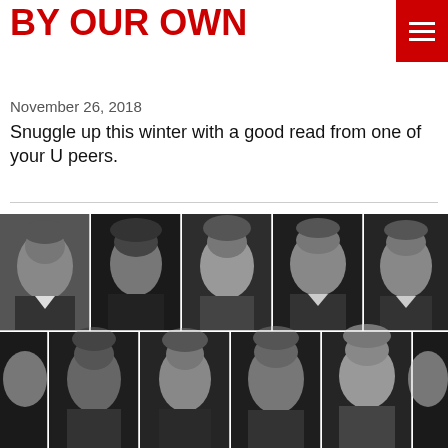BY OUR OWN
November 26, 2018
Snuggle up this winter with a good read from one of your U peers.
[Figure (photo): Grid of black-and-white headshot photos of University alumni/peers authors, arranged in two rows of five people each.]